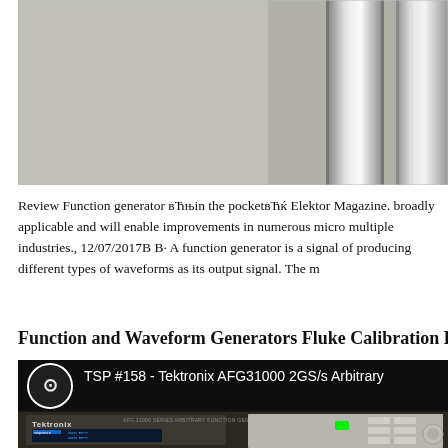[Figure (photo): Top portion of a photo showing laboratory equipment with metal cylindrical components on the right side against a light grey background]
Review Function generator вЋњin the pocketвЋќ Elektor Magazine. broadly applicable and will enable improvements in numerous micro multiple industries., 12/07/2017В В· A function generator is a signal of producing different types of waveforms as its output signal. The m
Function and Waveform Generators Fluke Calibration F
[Figure (screenshot): Video thumbnail showing TSP #158 - Tektronix AFG31000 2GS/s Arbitrary function generator with circuit logo icon, dark background showing the Tektronix AFG 31000 SERIES ARBITRARY FUNCTION GENERATOR device with display screen and control panel]